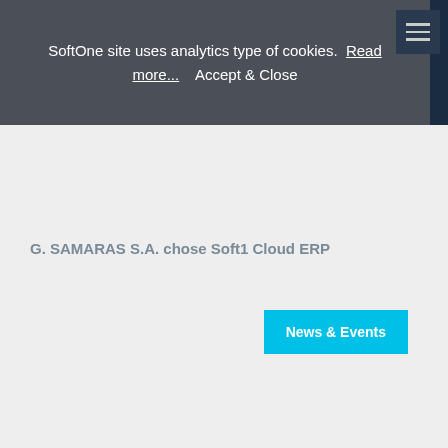SoftOne site uses analytics type of cookies.  Read more...    Accept & Close
G. SAMARAS S.A. chose Soft1 Cloud ERP
News & Events